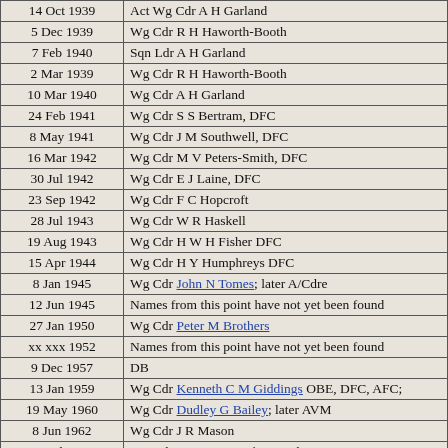| Date | Name/Note |
| --- | --- |
| 14 Oct 1939 | Act Wg Cdr A H Garland |
| 5 Dec 1939 | Wg Cdr R H Haworth-Booth |
| 7 Feb 1940 | Sqn Ldr A H Garland |
| 2 Mar 1939 | Wg Cdr R H Haworth-Booth |
| 10 Mar 1940 | Wg Cdr A H Garland |
| 24 Feb 1941 | Wg Cdr S S Bertram, DFC |
| 8 May 1941 | Wg Cdr J M Southwell, DFC |
| 16 Mar 1942 | Wg Cdr M V Peters-Smith, DFC |
| 30 Jul 1942 | Wg Cdr E J Laine, DFC |
| 23 Sep 1942 | Wg Cdr F C Hopcroft |
| 28 Jul 1943 | Wg Cdr W R Haskell |
| 19 Aug 1943 | Wg Cdr H W H Fisher DFC |
| 15 Apr 1944 | Wg Cdr H Y Humphreys DFC |
| 8 Jan 1945 | Wg Cdr John N Tomes; later A/Cdre |
| 12 Jun 1945 | Names from this point have not yet been found |
| 27 Jan 1950 | Wg Cdr Peter M Brothers |
| xx xxx 1952 | Names from this point have not yet been found |
| 9 Dec 1957 | DB |
| 13 Jan 1959 | Wg Cdr Kenneth C M Giddings OBE, DFC, AFC; |
| 19 May 1960 | Wg Cdr Dudley G Bailey; later AVM |
| 8 Jun 1962 | Wg Cdr J R Mason |
| 24 Jul 1964 | Wg Cdr Roy D A Smith DFC; later AM |
| 10 Jan 1966 | Wg Cdr Hubert D Hall AFC; later AVM |
| 28 Mar 1968 | Wg Cdr Gerald G R Gordon MVO; later A/Cdre |